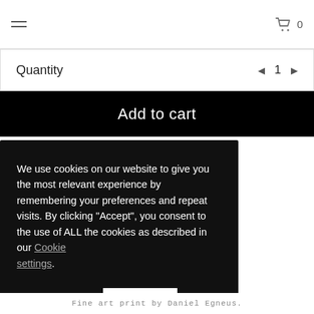≡  🛒 0
Quantity  ◄ 1 ►
Add to cart
We use cookies on our website to give you the most relevant experience by remembering your preferences and repeat visits. By clicking "Accept", you consent to the use of ALL the cookies as described in our Cookie settings.
Cookie settings   ACCEPT
Fine art print by Daniel Egneus.